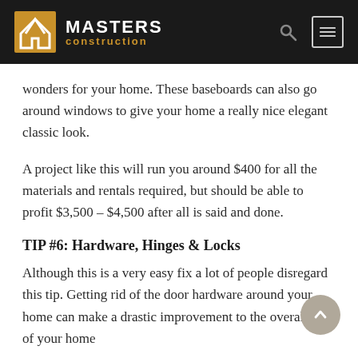MASTERS construction
wonders for your home. These baseboards can also go around windows to give your home a really nice elegant classic look.
A project like this will run you around $400 for all the materials and rentals required, but should be able to profit $3,500 – $4,500 after all is said and done.
TIP #6: Hardware, Hinges & Locks
Although this is a very easy fix a lot of people disregard this tip. Getting rid of the door hardware around your home can make a drastic improvement to the overall look of your home